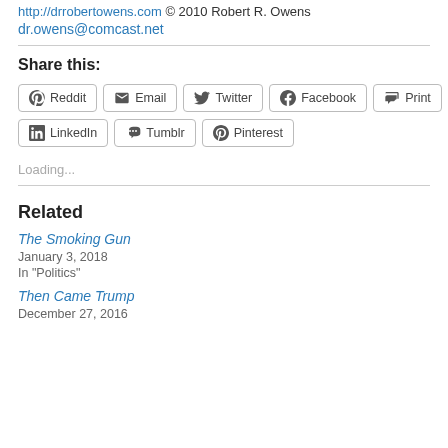http://drrobertowens.com © 2010 Robert R. Owens dr.owens@comcast.net
Share this:
Reddit
Email
Twitter
Facebook
Print
LinkedIn
Tumblr
Pinterest
Loading...
Related
The Smoking Gun
January 3, 2018
In "Politics"
Then Came Trump
December 27, 2016